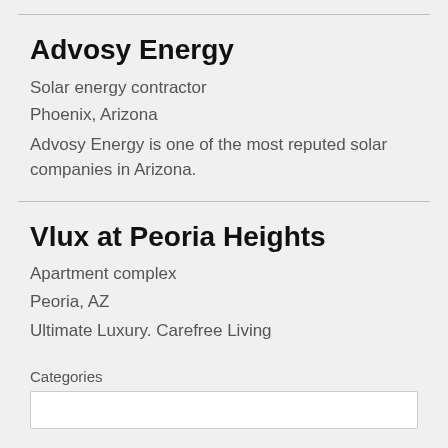Advosy Energy
Solar energy contractor
Phoenix, Arizona
Advosy Energy is one of the most reputed solar companies in Arizona.
Vlux at Peoria Heights
Apartment complex
Peoria, AZ
Ultimate Luxury. Carefree Living
Categories